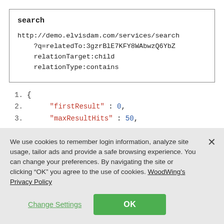[Figure (screenshot): Code box showing search API endpoint: 'search' label, URL http://demo.elvisdam.com/services/search with query parameters ?q=relatedTo:3gzrBlE7KFY8WAbwzQ6YbZ, relationTarget:child, relationType:contains]
1. {
2.     "firstResult" : 0,
3.     "maxResultHits" : 50,
We use cookies to remember login information, analyze site usage, tailor ads and provide a safe browsing experience. You can change your preferences. By navigating the site or clicking “OK” you agree to the use of cookies. WoodWing's Privacy Policy
Change Settings
OK